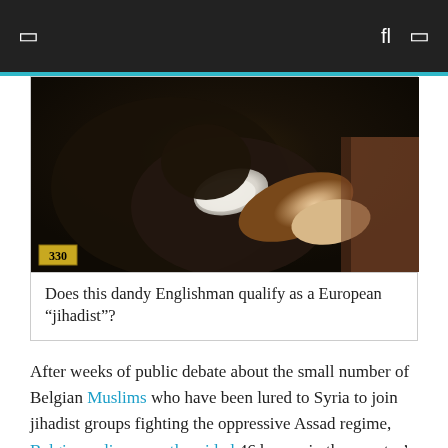☰  🔍 ☐
[Figure (photo): Dark oil painting showing a reclining figure with a white cloth/bandage, with the number 330 visible in a yellow label at bottom left]
Does this dandy Englishman qualify as a European “jihadist”?
After weeks of public debate about the small number of Belgian Muslims who have been lured to Syria to join jihadist groups fighting the oppressive Assad regime, Belgian police recently raided 46 homes in the country’s second-largest urban area, the port city of Antwerp.
Authorities across Europe are also on a similar high level of